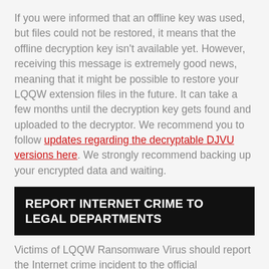If you were informed that an offline key was used, but files could not be restored, it means that the offline decryption key isn't available yet. However, receiving this message is extremely good news, meaning that it might be possible to restore your LQQW extension files in the future. It can take a few months until the decryption key gets found and uploaded to the decryptor. We recommend you to follow updates regarding the decryptable DJVU versions here. We strongly recommend backing up your encrypted data and waiting.
REPORT INTERNET CRIME TO LEGAL DEPARTMENTS
Victims of LQQW Ransomware Virus should report the Internet crime incident to the official